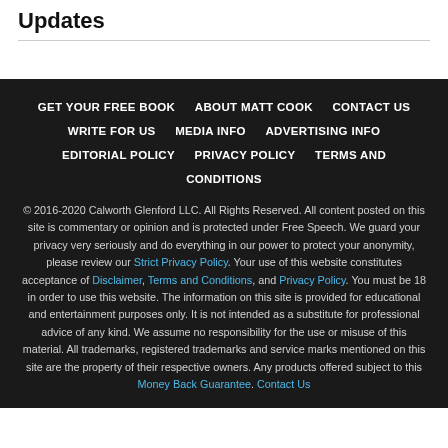Updates
GET YOUR FREE BOOK | ABOUT MATT COOK | CONTACT US | WRITE FOR US | MEDIA INFO | ADVERTISING INFO | EDITORIAL POLICY | PRIVACY POLICY | TERMS AND CONDITIONS
© 2016-2020 Calworth Glenford LLC. All Rights Reserved. All content posted on this site is commentary or opinion and is protected under Free Speech. We guard your privacy very seriously and do everything in our power to protect your anonymity, please review our Strict Privacy Policy. Your use of this website constitutes acceptance of Disclaimer, Terms and Conditions, and Privacy Policy. You must be 18 in order to use this website. The information on this site is provided for educational and entertainment purposes only. It is not intended as a substitute for professional advice of any kind. We assume no responsibility for the use or misuse of this material. All trademarks, registered trademarks and service marks mentioned on this site are the property of their respective owners. Any products offered subject to this Money Back Guarantee. Contact Us